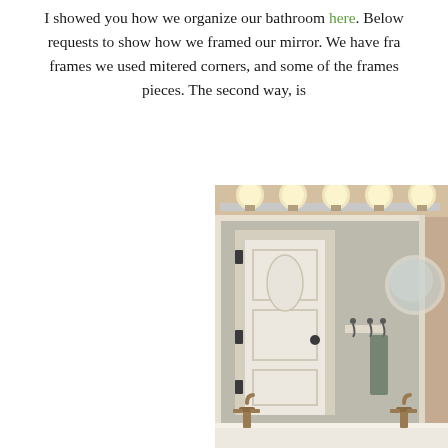I showed you how we organize our bathroom here. Below requests to show how we framed our mirror. We have fra... frames we used mitered corners, and some of the frames pieces. The second way, is
[Figure (photo): Bathroom mirror with a wooden frame, a row of globe lights above, a white door reflected in the mirror, a round mirror on the right wall, metal hooks with a towel, and double sinks with bronze faucets at the bottom.]